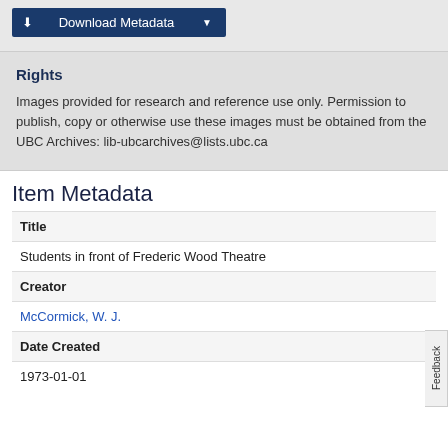[Figure (screenshot): Download Metadata button — dark navy blue button with download icon and dropdown arrow]
Rights
Images provided for research and reference use only. Permission to publish, copy or otherwise use these images must be obtained from the UBC Archives: lib-ubcarchives@lists.ubc.ca
Item Metadata
| Field | Value |
| --- | --- |
| Title | Students in front of Frederic Wood Theatre |
| Creator | McCormick, W. J. |
| Date Created | 1973-01-01 |